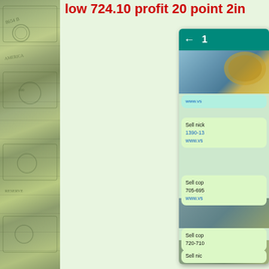[Figure (photo): Stack of US dollar bills partially visible on the left strip]
low 724.10 profit 20 point 2in
[Figure (screenshot): WhatsApp chat screenshot showing messages: 'Sell nick 1390-13... www.vs...' and 'Sell cop 705-695... www.vs...' and 'Sell cop 720-710...' and 'Sell nick...' with a teal header showing back arrow and number 1]